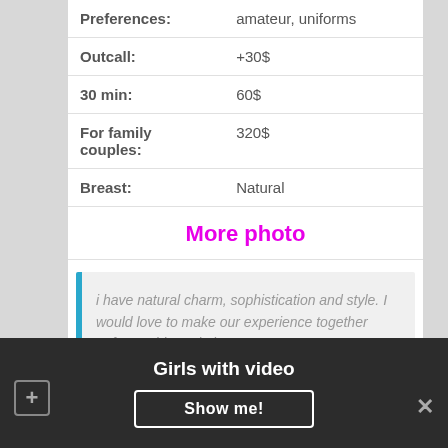| Preferences: | amateur, uniforms |
| Outcall: | +30$ |
| 30 min: | 60$ |
| For family couples: | 320$ |
| Breast: | Natural |
More photo
i have natural charm, sophistication and style. I would love to make our experience together unforgetable and also
Violetta
Girls with video
Show me!